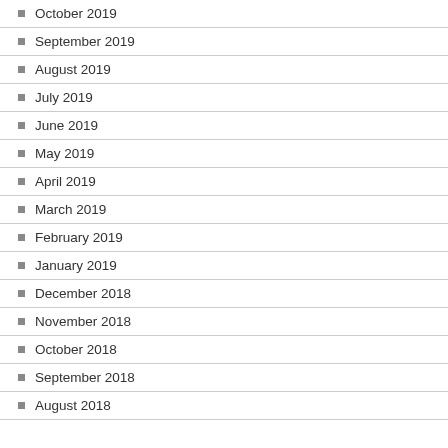October 2019
September 2019
August 2019
July 2019
June 2019
May 2019
April 2019
March 2019
February 2019
January 2019
December 2018
November 2018
October 2018
September 2018
August 2018